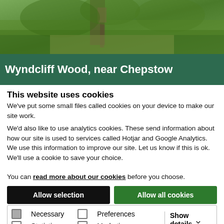[Figure (photo): Person walking through a wooded forest path with green foliage]
Wyndcliff Wood, near Chepstow
This website uses cookies
We've put some small files called cookies on your device to make our site work.
We'd also like to use analytics cookies. These send information about how our site is used to services called Hotjar and Google Analytics. We use this information to improve our site. Let us know if this is ok. We'll use a cookie to save your choice.
You can read more about our cookies before you choose.
Allow selection | Allow all cookies
Necessary | Preferences | Statistics | Marketing | Show details